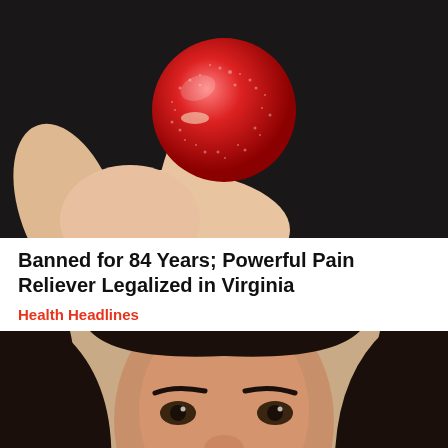[Figure (photo): Close-up photo of a hand holding a small round red sugary gummy candy between thumb and fingers, against a dark background]
Banned for 84 Years; Powerful Pain Reliever Legalized in Virginia
Health Headlines
[Figure (photo): Close-up photo of a dark-haired woman's face holding a tissue to her nose, looking at the camera]